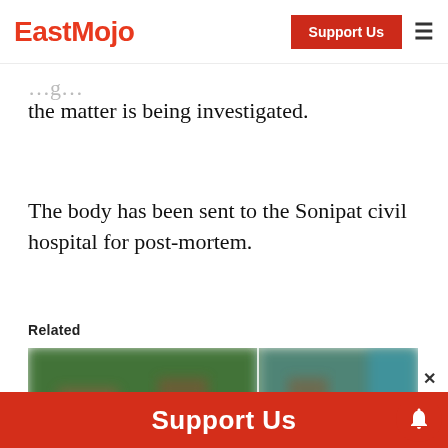EastMojo — Support Us
the matter is being investigated.
The body has been sent to the Sonipat civil hospital for post-mortem.
Related
[Figure (photo): Blurred/censored composite photo related to the article, showing two side-by-side images with figures and outdoor scene, heavily blurred for content sensitivity.]
Support Us